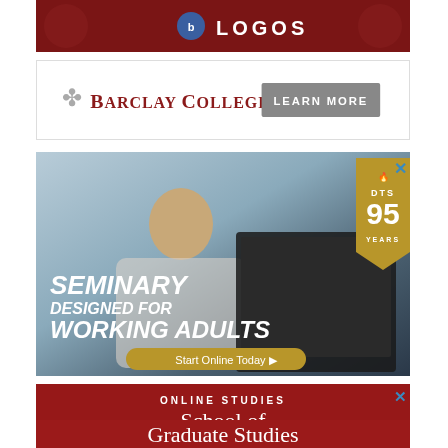[Figure (illustration): Logos Bible Software advertisement banner with dark red background and Logos logo text in white]
[Figure (logo): Barclay College advertisement with logo showing a fleur-de-lis style icon followed by 'Barclay College' in serif red text and a 'LEARN MORE' button in grey]
[Figure (photo): Dallas Theological Seminary (DTS) advertisement showing a man studying at a laptop. Gold banner pennant with DTS 95 Years logo in upper right. Text overlay reads 'SEMINARY DESIGNED FOR WORKING ADULTS' with a gold 'Start Online Today' button. Blue X close button in corner.]
[Figure (illustration): Red advertisement banner with text 'ONLINE STUDIES' and 'School of Graduate Studies' in white serif text on dark red background. Blue X close button in corner.]